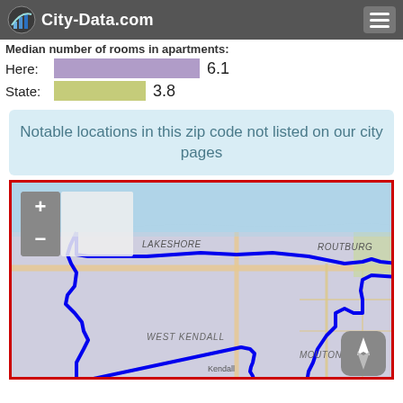City-Data.com
Median number of rooms in apartments:
Here: 6.1
State: 3.8
Notable locations in this zip code not listed on our city pages
[Figure (map): Map showing a zip code boundary outlined in blue over a street map. Area labeled WEST KENDALL on the left, ROUTBURG on the upper right, MOUTON lower right, Kendall at center bottom. Map includes zoom controls (+/-) and a compass button.]